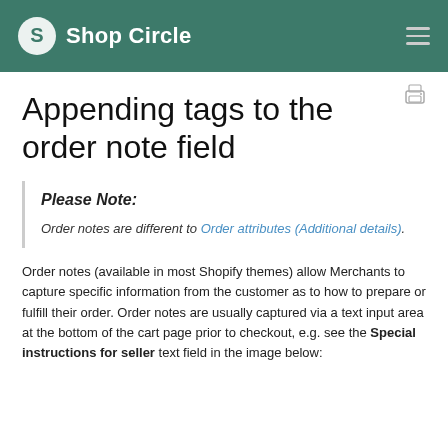Shop Circle
Appending tags to the order note field
Please Note:
Order notes are different to Order attributes (Additional details).
Order notes (available in most Shopify themes) allow Merchants to capture specific information from the customer as to how to prepare or fulfill their order. Order notes are usually captured via a text input area at the bottom of the cart page prior to checkout, e.g. see the Special instructions for seller text field in the image below: